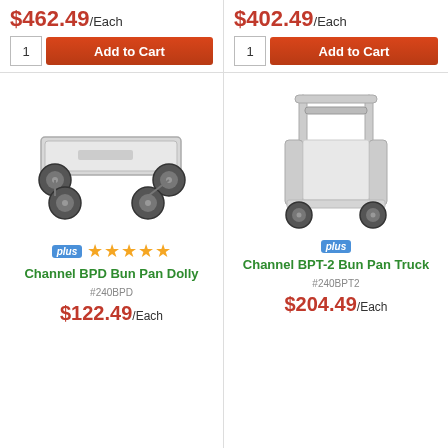$462.49/Each
$402.49/Each
1  Add to Cart
1  Add to Cart
[Figure (photo): Channel BPD Bun Pan Dolly - a flat aluminum dolly with four caster wheels]
[Figure (photo): Channel BPT-2 Bun Pan Truck - a metal cart with handle frame and four caster wheels]
plus ★★★★★ Channel BPD Bun Pan Dolly
plus Channel BPT-2 Bun Pan Truck
#240BPD
#240BPT2
$122.49/Each
$204.49/Each